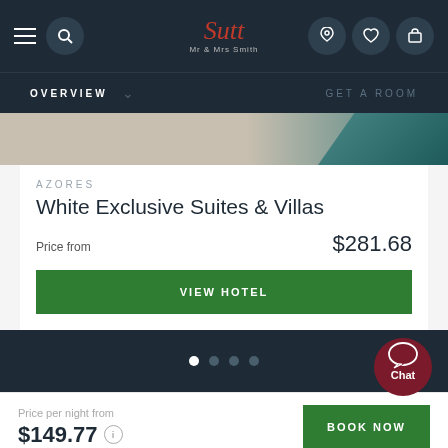[Figure (screenshot): Mr & Mrs Smith hotel booking website screenshot showing navigation bar with hamburger menu, search icon, logo, phone, heart, and luggage icons on dark navy background]
OVERVIEW
GET A ROOM
AZORES
White Exclusive Suites & Villas
Price from  $281.68
VIEW HOTEL
Chat
Price per night from
$149.77
BOOK NOW